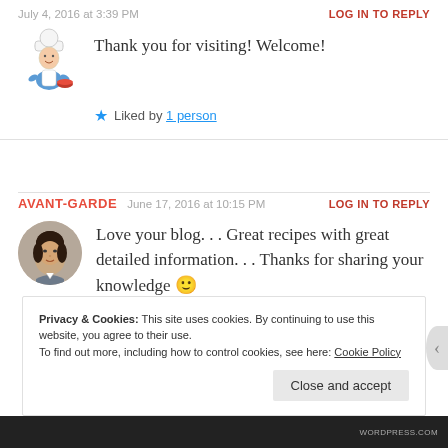July 4, 2016 at 3:39 PM
LOG IN TO REPLY
[Figure (illustration): Cartoon chef avatar illustration]
Thank you for visiting! Welcome!
★ Liked by 1 person
AVANT-GARDE   June 17, 2016 at 10:15 PM   LOG IN TO REPLY
[Figure (photo): Round avatar photo of a woman]
Love your blog. . . Great recipes with great detailed information. . . Thanks for sharing your knowledge 🙂
Privacy & Cookies: This site uses cookies. By continuing to use this website, you agree to their use. To find out more, including how to control cookies, see here: Cookie Policy
Close and accept